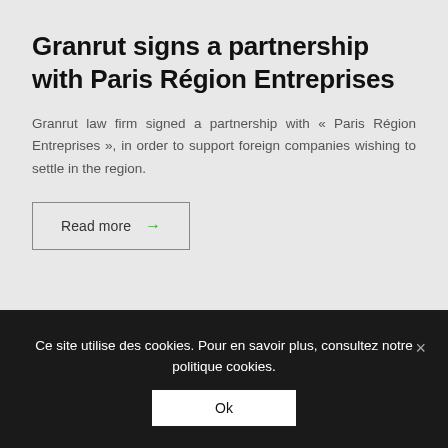Granrut signs a partnership with Paris Région Entreprises
Granrut law firm signed a partnership with « Paris Région Entreprises », in order to support foreign companies wishing to settle in the region.
Read more →
Ce site utilise des cookies. Pour en savoir plus, consultez notre politique cookies.
Ok